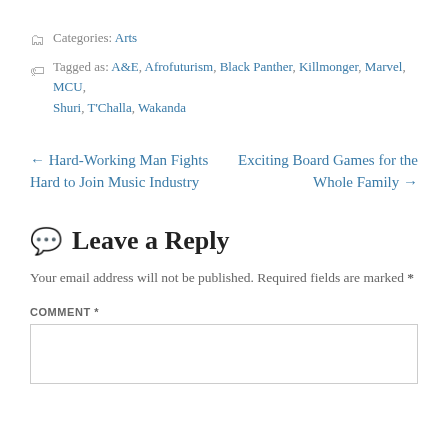Categories: Arts
Tagged as: A&E, Afrofuturism, Black Panther, Killmonger, Marvel, MCU, Shuri, T'Challa, Wakanda
← Hard-Working Man Fights Hard to Join Music Industry
Exciting Board Games for the Whole Family →
Leave a Reply
Your email address will not be published. Required fields are marked *
COMMENT *